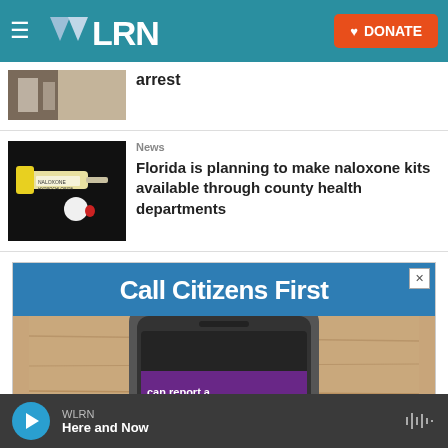WLRN | DONATE
arrest
News
Florida is planning to make naloxone kits available through county health departments
[Figure (photo): Naloxone hydrochloride kit with syringe and packaging on dark background]
[Figure (photo): Advertisement: Call Citizens First - showing a smartphone on a wooden surface with text 'can report a']
WLRN Here and Now